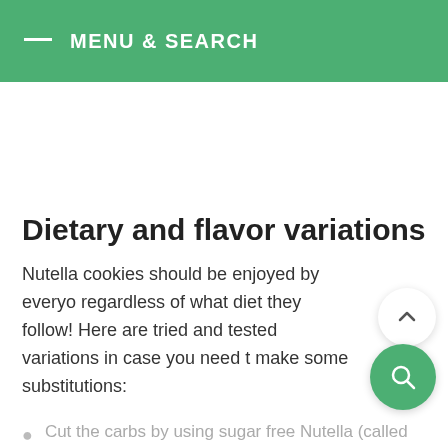MENU & SEARCH
Dietary and flavor variations
Nutella cookies should be enjoyed by everyone regardless of what diet they follow! Here are tried and tested variations in case you need to make some substitutions:
Cut the carbs by using sugar free Nutella (called Nutilight) and sugar free chocolate